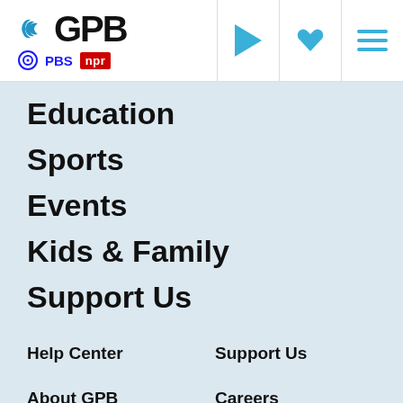GPB | PBS NPR
Education
Sports
Events
Kids & Family
Support Us
Help Center
Support Us
About GPB
Careers
Contact Us
Accessibility